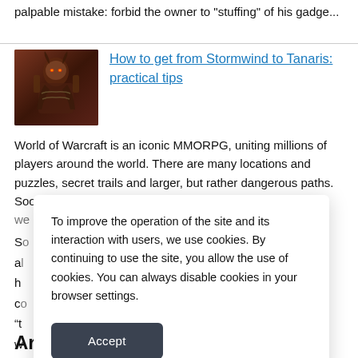palpable mistake: forbid the owner to "stuffing" of his gadge...
How to get from Stormwind to Tanaris: practical tips
[Figure (illustration): Dark fantasy game character illustration, likely a World of Warcraft character, with dark red/brown tones]
World of Warcraft is an iconic MMORPG, uniting millions of players around the world. There are many locations and puzzles, secret trails and larger, but rather dangerous paths. Sooner or later, every player chose the side of the Alliance, we have to
So al h co “t ut w co ta
To improve the operation of the site and its interaction with users, we use cookies. By continuing to use the site, you allow the use of cookies. You can always disable cookies in your browser settings.
Accept
Armor and health